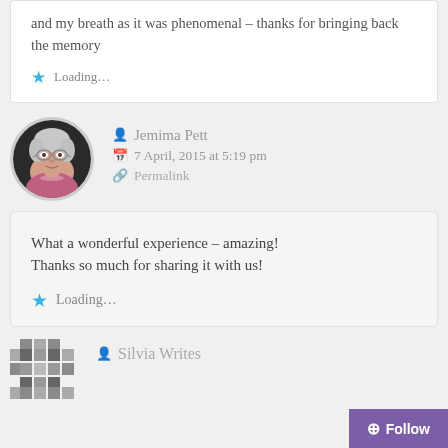and my breath as it was phenomenal – thanks for bringing back the memory
Loading...
Jemima Pett
7 April, 2015 at 5:19 pm
Permalink
What a wonderful experience – amazing! Thanks so much for sharing it with us!
Loading...
Silvia Writes